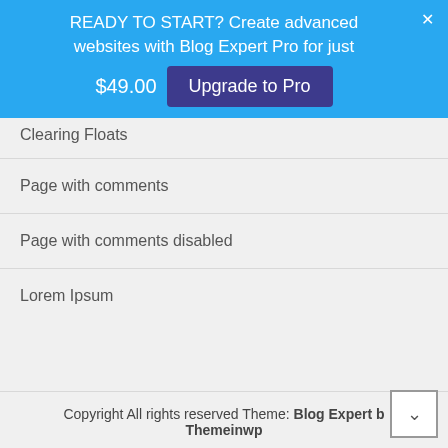[Figure (screenshot): Blue promotional banner: READY TO START? Create advanced websites with Blog Expert Pro for just $49.00 [Upgrade to Pro button] with X close button]
Clearing Floats
Page with comments
Page with comments disabled
Lorem Ipsum
Copyright All rights reserved Theme: Blog Expert by Themeinwp